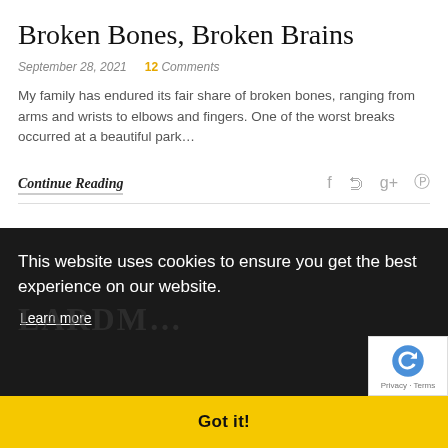Broken Bones, Broken Brains
September 28, 2021    12 Comments
My family has endured its fair share of broken bones, ranging from arms and wrists to elbows and fingers. One of the worst breaks occurred at a beautiful park…
Continue Reading
[Figure (screenshot): Dark background section showing cookie consent banner with text 'This website uses cookies to ensure you get the best experience on our website.' with a Learn more link, a Got it! button on a yellow bar, and a reCAPTCHA badge in the bottom right.]
This website uses cookies to ensure you get the best experience on our website.
Learn more
Got it!